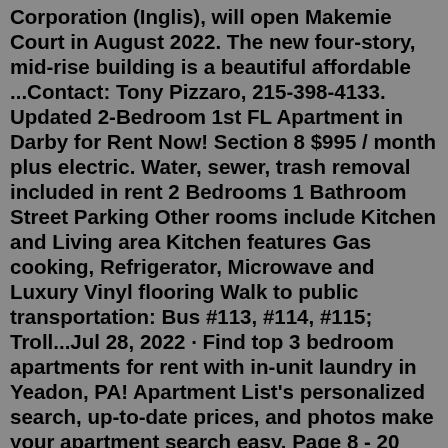Corporation (Inglis), will open Makemie Court in August 2022. The new four-story, mid-rise building is a beautiful affordable ...Contact: Tony Pizzaro, 215-398-4133. Updated 2-Bedroom 1st FL Apartment in Darby for Rent Now! Section 8 $995 / month plus electric. Water, sewer, trash removal included in rent 2 Bedrooms 1 Bathroom Street Parking Other rooms include Kitchen and Living area Kitchen features Gas cooking, Refrigerator, Microwave and Luxury Vinyl flooring Walk to public transportation: Bus #113, #114, #115; Troll...Jul 28, 2022 · Find top 3 bedroom apartments for rent with in-unit laundry in Yeadon, PA! Apartment List's personalized search, up-to-date prices, and photos make your apartment search easy. Page 8 - 20 Best 3 Bedroom Apartments for Rent with Washer-Dryers in Yeadon, PA Contact: Tony Pizzaro, 215-398-4133. Updated 2-Bedroom 1st FL Apartment in Darby for Rent Now! Section 8 $995 / month plus electric. Water, sewer, trash removal included in rent 2 Bedrooms 1 Bathroom Street Parking Other rooms include Kitchen and Living area Kitchen features G